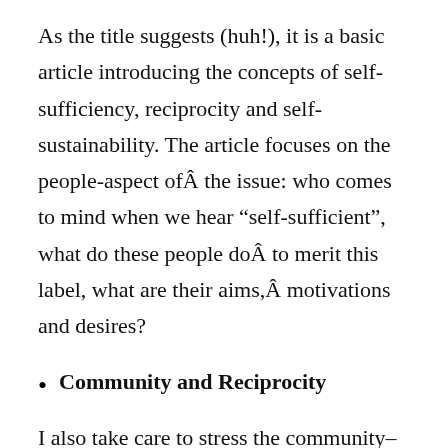As the title suggests (huh!), it is a basic article introducing the concepts of self-sufficiency, reciprocity and self-sustainability. The article focuses on the people-aspect ofÂ the issue: who comes to mind when we hear “self-sufficient”, what do these people doÂ to merit this label, what are their aims,Â motivations and desires?
Community and Reciprocity
I also take care to stress the community–